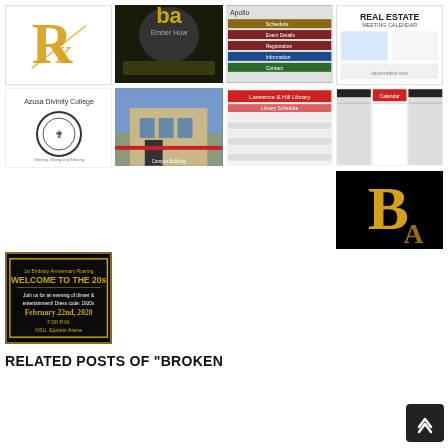[Figure (screenshot): Grid of thumbnail images: row 1 has gold R logo on white, basketball team photo 'In It To Win It Again', Apollo schedule/calendar screenshot, Real Estate meeting calendar. Row 2 has Azusa Divinity College logo/seal, building exterior photo, Lawrence & Hill Library calendar/schedule screenshot, academic calendar multi-panel. Row 3 has blank space, blank, blank, gold letter B logo on black. Row 4 has 'Welcome to the 20s' event flyer on black/gold.]
RELATED POSTS OF "BROKEN